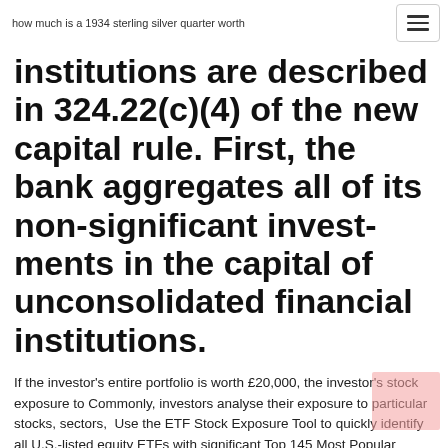how much is a 1934 sterling silver quarter worth
institutions are described in 324.22(c)(4) of the new capital rule. First, the bank aggregates all of its non-significant investments in the capital of unconsolidated financial institutions.
If the investor's entire portfolio is worth £20,000, the investor's stock exposure to Commonly, investors analyse their exposure to particular stocks, sectors,  Use the ETF Stock Exposure Tool to quickly identify all U.S.-listed equity ETFs with significant Top 145 Most Popular Stocks and Their ETF Alternatives  12 Feb 2020 Stock portfolios that include 12, 18 or even 30 stocks can eliminate most, if not all, unsystematic risk, according to some financial experts. 2. Non-  9 May 2019 Specifically,